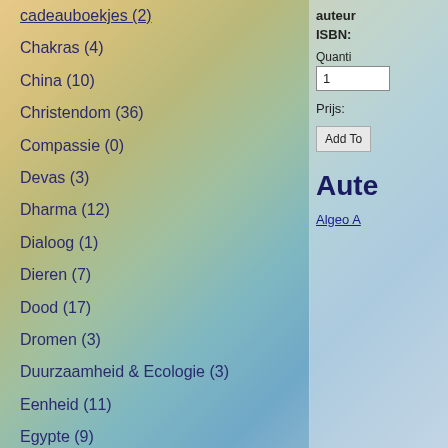cadeauboekjes (2)
Chakras (4)
China (10)
Christendom (36)
Compassie (0)
Devas (3)
Dharma (12)
Dialoog (1)
Dieren (7)
Dood (17)
Dromen (3)
Duurzaamheid & Ecologie (3)
Eenheid (11)
Egypte (9)
Elementenwezens (6)
Energie (1)
Engelen (3)
auteur
ISBN:
Quantity
1
Prijs:
Add To
Aute
Algeo A